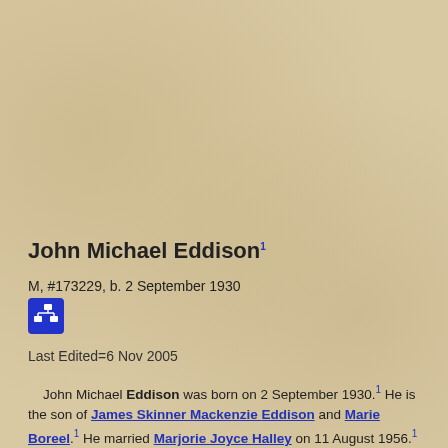John Michael Eddison1
M, #173229, b. 2 September 1930
[Figure (other): Blue icon button with family tree / network diagram symbol]
Last Edited=6 Nov 2005
John Michael Eddison was born on 2 September 1930.1 He is the son of James Skinner Mackenzie Eddison and Marie Boreel.1 He married Marjorie Joyce Halley on 11 August 1956.1